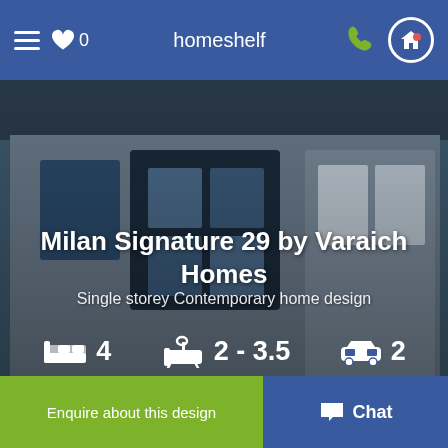homeshelf
Milan Signature 29 by Varaich Homes
Single storey Contemporary home design
4 bedrooms, 2–3.5 bathrooms, 2 garage
Get build price
Enquire about this design
Chat